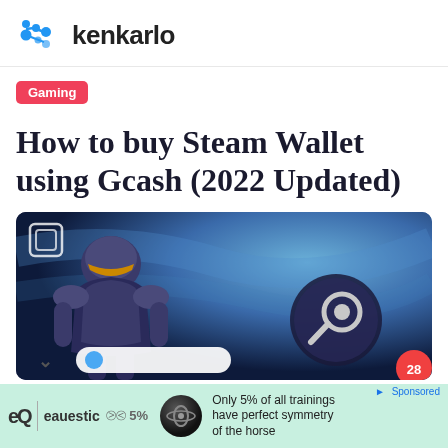kenkarlo
Gaming
How to buy Steam Wallet using Gcash (2022 Updated)
[Figure (photo): Hero image showing a Halo Spartan warrior in blue armor against a blue-toned background, with the Steam logo visible on the right side. A crop/frame icon appears top-left. A white popup box and chevron appear at the bottom left. A red notification badge with '28' appears at the bottom right.]
[Figure (photo): Advertisement banner with light green background showing Equestic logo, '5% arrows' symbol, a black ball/sensor device, and text reading 'Only 5% of all trainings have perfect symmetry of the horse'. A blue 'Sponsored' label appears top-right.]